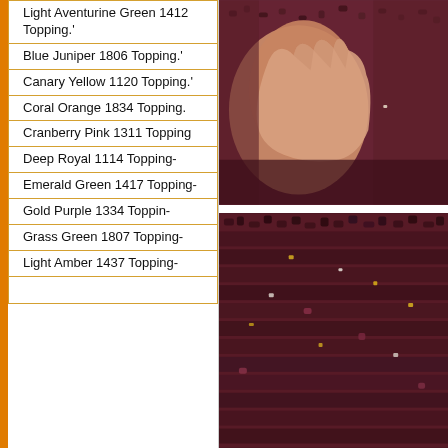| Light Aventurine Green 1412 Topping.' |
| Blue Juniper 1806 Topping.' |
| Canary Yellow 1120 Topping.' |
| Coral Orange 1834 Topping. |
| Cranberry Pink 1311 Topping |
| Deep Royal 1114 Topping- |
| Emerald Green 1417 Topping- |
| Gold Purple 1334 Toppin- |
| Grass Green 1807 Topping- |
| Light Amber 1437 Topping- |
[Figure (photo): Close-up photo of a hand holding dark reddish-purple mineral/glass granules or topping material]
[Figure (photo): Close-up photo of dark reddish-purple mineral/glass granules or topping material spread out, showing texture and occasional gold/orange flecks]